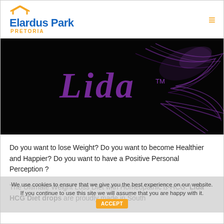Elardus Park PRETORIA
[Figure (logo): Elardus Park Pretoria logo with orange house icon and blue bold text, and orange hamburger menu icon on the right]
[Figure (photo): Dark black background with stylized purple gothic-script 'Lida' text with TM mark and purple butterfly/wing decorative graphic element on the right side]
Do you want to lose Weight? Do you want to become Healthier and Happier? Do you want to have a Positive Personal Perception ?
The Ultimate Weight Loss Diet with Homeopathic ß-HCG. Lida HCG Diet drops are proudly made in South
We use cookies to ensure that we give you the best experience on our website. If you continue to use this site we will assume that you are happy with it.